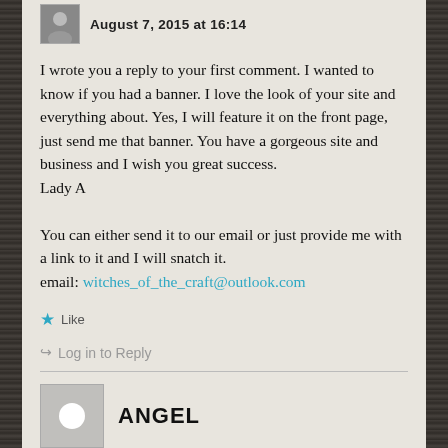August 7, 2015 at 16:14
I wrote you a reply to your first comment. I wanted to know if you had a banner. I love the look of your site and everything about. Yes, I will feature it on the front page, just send me that banner. You have a gorgeous site and business and I wish you great success.
Lady A

You can either send it to our email or just provide me with a link to it and I will snatch it.
email: witches_of_the_craft@outlook.com
Like
Log in to Reply
ANGEL